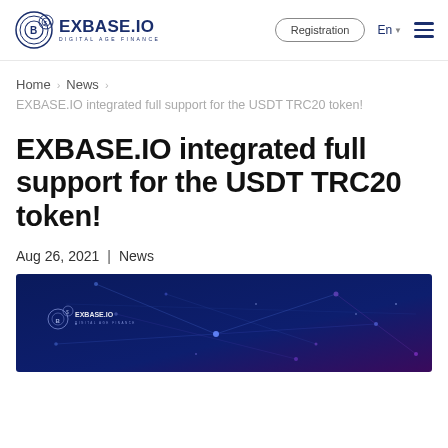[Figure (logo): EXBASE.IO logo with gear/bitcoin icons and tagline DIGITAL AGE FINANCE]
Registration  En  ☰
Home > News > EXBASE.IO integrated full support for the USDT TRC20 token!
EXBASE.IO integrated full support for the USDT TRC20 token!
Aug 26, 2021  |  News
[Figure (photo): Dark blue hero banner with EXBASE.IO logo, network/blockchain visualization with glowing nodes and connecting lines in blue and purple tones]